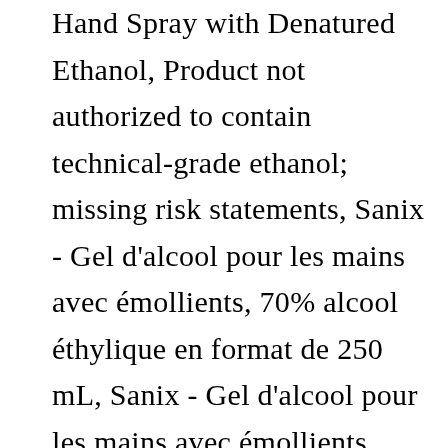Hand Spray with Denatured Ethanol, Product not authorized to contain technical-grade ethanol; missing risk statements, Sanix - Gel d'alcool pour les mains avec émollients, 70% alcool éthylique en format de 250 mL, Sanix - Gel d'alcool pour les mains avec émollients, 70% alcool éthylique en format de 4 L, Siding 14 Brewing Company - Ethanol Sanitizer 80%, Snake Lake Brewing Company - Ethanol Sanitizer 80%, 9376-5576 Québec Inc., DBA Les Produits PGM, The 101 Coast Distillery Hand + Surface Sanitizer, Missing